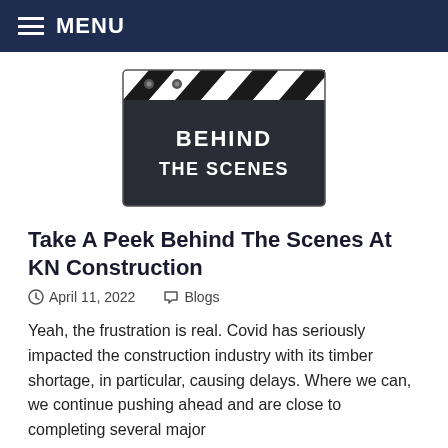MENU
[Figure (illustration): A clapperboard / film slate with black and white diagonal stripes on the top clapper, and white bold text reading 'BEHIND THE SCENES' on the dark slate body.]
Take A Peek Behind The Scenes At KN Construction
April 11, 2022   Blogs
Yeah, the frustration is real. Covid has seriously impacted the construction industry with its timber shortage, in particular, causing delays. Where we can, we continue pushing ahead and are close to completing several major